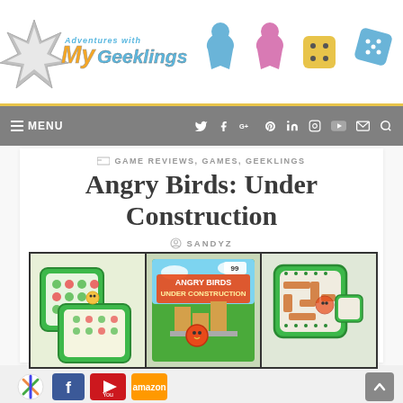[Figure (logo): Adventures with My Geeklings blog logo with star burst and meeple/dice icons]
MENU | social icons: Twitter, Facebook, Google+, Pinterest, LinkedIn, Instagram, YouTube, Email, Search
GAME REVIEWS, GAMES, GEEKLINGS
Angry Birds: Under Construction
SANDYZ
[Figure (photo): Three side-by-side photos of the Angry Birds Under Construction board game showing game boards, box art, and components]
[Figure (photo): Bottom partial view showing share icons including a colorful star logo, Facebook, YouTube, and Amazon icons]